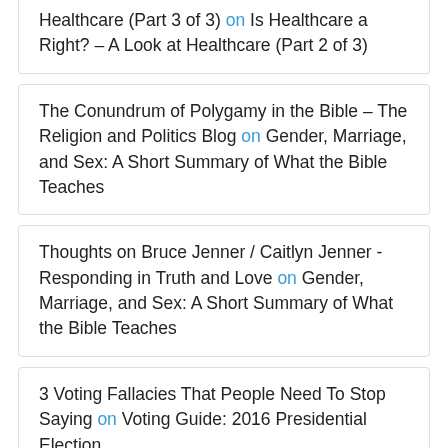Healthcare (Part 3 of 3) on Is Healthcare a Right? – A Look at Healthcare (Part 2 of 3)
The Conundrum of Polygamy in the Bible – The Religion and Politics Blog on Gender, Marriage, and Sex: A Short Summary of What the Bible Teaches
Thoughts on Bruce Jenner / Caitlyn Jenner - Responding in Truth and Love on Gender, Marriage, and Sex: A Short Summary of What the Bible Teaches
3 Voting Fallacies That People Need To Stop Saying on Voting Guide: 2016 Presidential Election